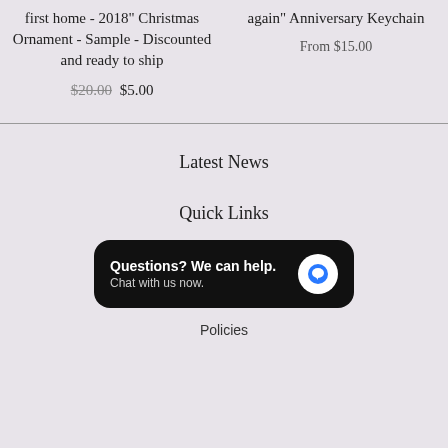first home - 2018" Christmas Ornament - Sample - Discounted and ready to ship
$20.00 $5.00
again" Anniversary Keychain
From $15.00
Latest News
Quick Links
Questions? We can help. Chat with us now.
Policies